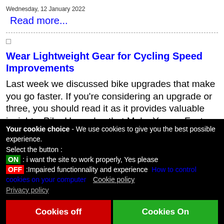Wednesday, 12 January 2022
Read more...
Wear Lightweight Gear for Cycling Speed Improvements
Last week we discussed bike upgrades that make you go faster. If you’re considering an upgrade or three, you should read it as it provides valuable insights: Bike Upgrades that Make You go Faster.
Your cookie choice - We use cookies to give you the best possible experience. Select the button : ON : i want the site to work properly, Yes please OFF :Impaired functionnality and experience How to control cookies on your computer Cookie policy Privacy policy
Cookies off
Cookies On